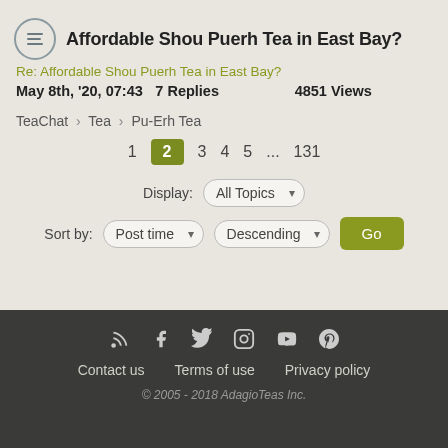Affordable Shou Puerh Tea in East Bay?
Re: Affordable Shou Puerh Tea in East Bay?
May 8th, '20, 07:43    7 Replies    4851 Views
TeaChat › Tea › Pu-Erh Tea
1  2  3  4  5  ...  131
Display: All Topics
Sort by: Post time  Descending  Go
Contact us   Terms of use   Privacy policy   © 2005 - 2018 AdagioTeas Inc.